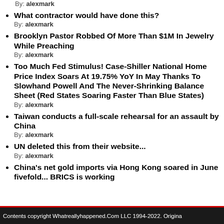By: alexmark
What contractor would have done this?
By: alexmark
Brooklyn Pastor Robbed Of More Than $1M In Jewelry While Preaching
By: alexmark
Too Much Fed Stimulus! Case-Shiller National Home Price Index Soars At 19.75% YoY In May Thanks To Slowhand Powell And The Never-Shrinking Balance Sheet (Red States Soaring Faster Than Blue States)
By: alexmark
Taiwan conducts a full-scale rehearsal for an assault by China
By: alexmark
UN deleted this from their website...
By: alexmark
China's net gold imports via Hong Kong soared in June fivefold... BRICS is working
Contents copyright Whatreallyhappened.Com LLC 1994-2022. Origina